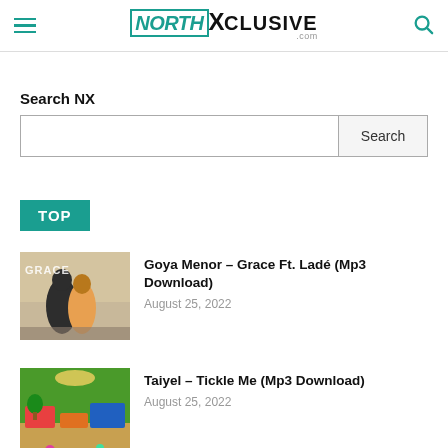NorthXclusive.com
Search NX
Search (button)
TOP
[Figure (photo): Album art for Goya Menor – Grace Ft. Ladé showing two people]
Goya Menor – Grace Ft. Ladé (Mp3 Download)
August 25, 2022
[Figure (photo): Album art for Taiyel – Tickle Me showing colorful room scene]
Taiyel – Tickle Me (Mp3 Download)
August 25, 2022